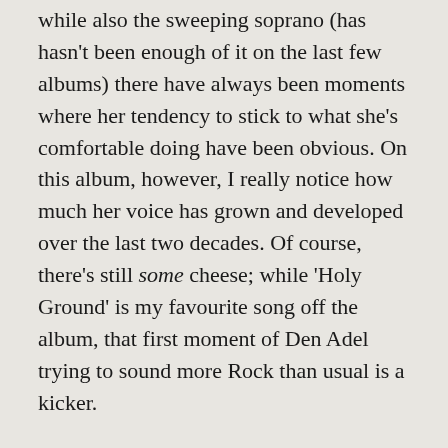while also the sweeping soprano (has hasn't been enough of it on the last few albums) there have always been moments where her tendency to stick to what she's comfortable doing have been obvious. On this album, however, I really notice how much her voice has grown and developed over the last two decades. Of course, there's still some cheese; while 'Holy Ground' is my favourite song off the album, that first moment of Den Adel trying to sound more Rock than usual is a kicker.
In terms of instrumentation, unfortunately, at points the backing music gets a bit busy. A lot of this I'm willing to attribute to mixing, but while the 'wall of sound' works for a lot of RESIST, there are songs that could have benefited from more